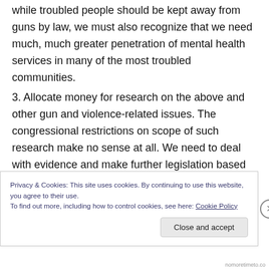while troubled people should be kept away from guns by law, we must also recognize that we need much, much greater penetration of mental health services in many of the most troubled communities.
3. Allocate money for research on the above and other gun and violence-related issues. The congressional restrictions on scope of such research make no sense at all. We need to deal with evidence and make further legislation based on evidence.
Privacy & Cookies: This site uses cookies. By continuing to use this website, you agree to their use.
To find out more, including how to control cookies, see here: Cookie Policy